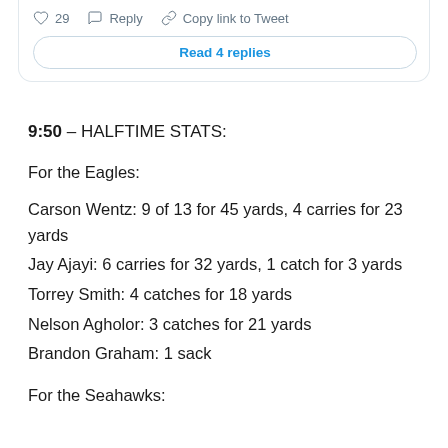[Figure (screenshot): Twitter/X tweet card bottom section showing like count (29), Reply, and Copy link to Tweet actions, plus a 'Read 4 replies' button]
9:50 – HALFTIME STATS:
For the Eagles:
Carson Wentz: 9 of 13 for 45 yards, 4 carries for 23 yards
Jay Ajayi: 6 carries for 32 yards, 1 catch for 3 yards
Torrey Smith: 4 catches for 18 yards
Nelson Agholor: 3 catches for 21 yards
Brandon Graham: 1 sack
For the Seahawks: